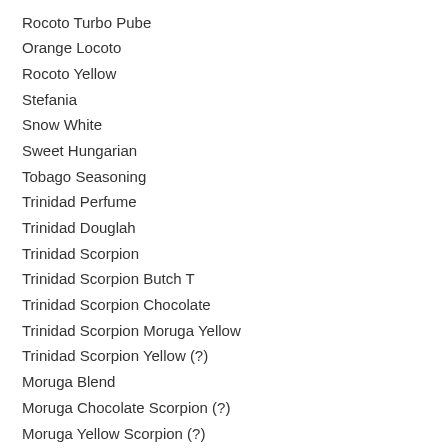Rocoto Turbo Pube
Orange Locoto
Rocoto Yellow
Stefania
Snow White
Sweet Hungarian
Tobago Seasoning
Trinidad Perfume
Trinidad Douglah
Trinidad Scorpion
Trinidad Scorpion Butch T
Trinidad Scorpion Chocolate
Trinidad Scorpion Moruga Yellow
Trinidad Scorpion Yellow (?)
Moruga Blend
Moruga Chocolate Scorpion (?)
Moruga Yellow Scorpion (?)
Trinidad Scorpion Peach